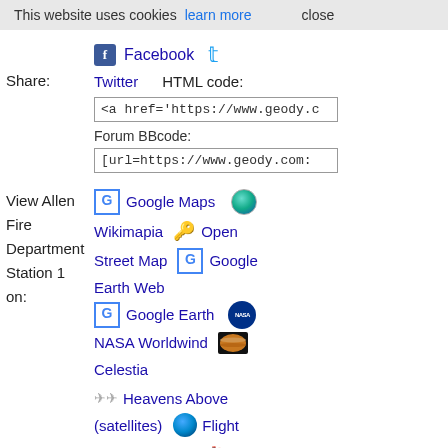This website uses cookies  learn more  close
Share:
Facebook  Twitter  HTML code:
<a href='https://www.geody.c
Forum BBcode:
[url=https://www.geody.com:
View Allen Fire Department Station 1 on:
Google Maps
Wikimapia
Open Street Map
Google Earth Web
Google Earth
NASA Worldwind
Celestia
Heavens Above (satellites)
Flight Radar (planes)
Marine Traffic (ships)